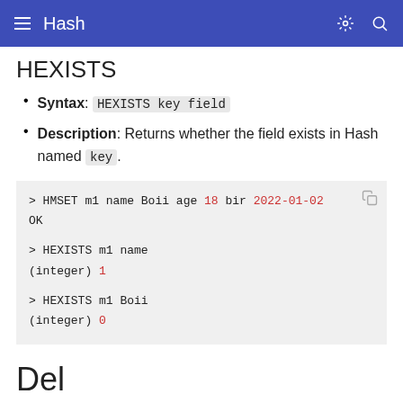Hash
HEXISTS
Syntax: HEXISTS key field
Description: Returns whether the field exists in Hash named key.
[Figure (screenshot): Code block showing Redis HMSET and HEXISTS commands with output]
Del